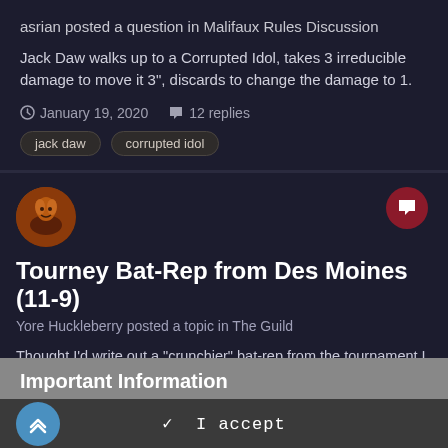asrian posted a question in Malifaux Rules Discussion
Jack Daw walks up to a Corrupted Idol, takes 3 irreducible damage to move it 3", discards to change the damage to 1.
January 19, 2020   12 replies
jack daw
corrupted idol
Tourney Bat-Rep from Des Moines (11-9)
Yore Huckleberry posted a topic in The Guild
Thought I'd write out a "crunchier" bat-rep from the tournament I went to in Des Moines last weekend! I finished top of Faction
Important Information
✓  I accept